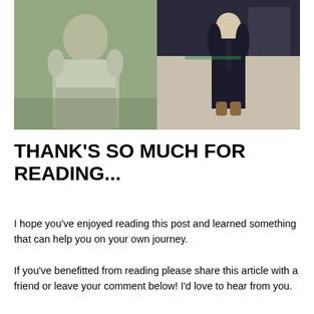[Figure (photo): Before and after comparison photos side by side. Left photo shows a larger man in a white shirt with bow tie at what appears to be a party with green lighting. Right photo shows the same man slimmer, wearing a dark suit, standing in a room.]
THANK'S SO MUCH FOR READING...
I hope you've enjoyed reading this post and learned something that can help you on your own journey.
If you've benefitted from reading please share this article with a friend or leave your comment below! I'd love to hear from you.